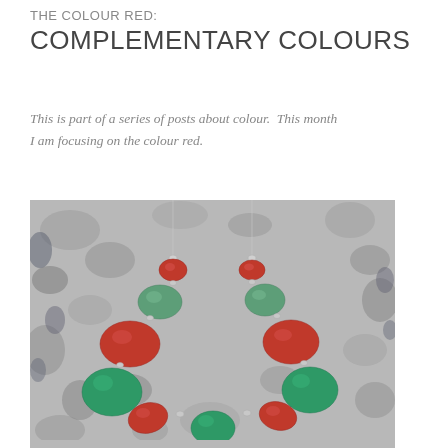THE COLOUR RED: COMPLEMENTARY COLOURS
This is part of a series of posts about colour.  This month I am focusing on the colour red.
[Figure (photo): Photo of a necklace with alternating red and green polished stone or resin beads arranged in a U shape against a grey mottled background]